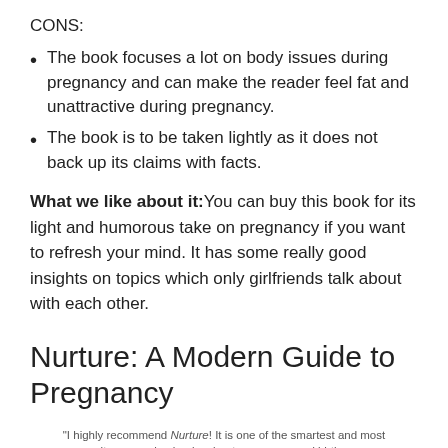CONS:
The book focuses a lot on body issues during pregnancy and can make the reader feel fat and unattractive during pregnancy.
The book is to be taken lightly as it does not back up its claims with facts.
What we like about it: You can buy this book for its light and humorous take on pregnancy if you want to refresh your mind. It has some really good insights on topics which only girlfriends talk about with each other.
Nurture: A Modern Guide to Pregnancy
“I highly recommend Nurture! It is one of the smartest and most sanity-preserving books about pregnancy and birth ever written.”
—DR. HARVEY KARP